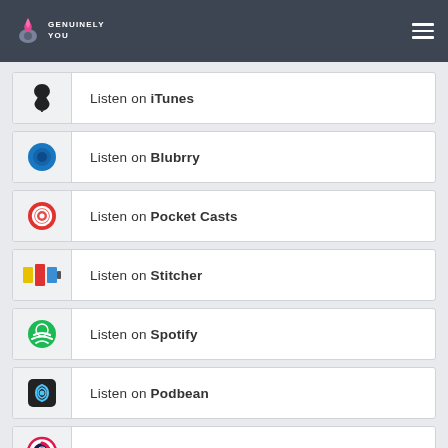Genuinely You
Listen on iTunes
Listen on Blubrry
Listen on Pocket Casts
Listen on Stitcher
Listen on Spotify
Listen on Podbean
Listen on Podchaser
Listen on ...